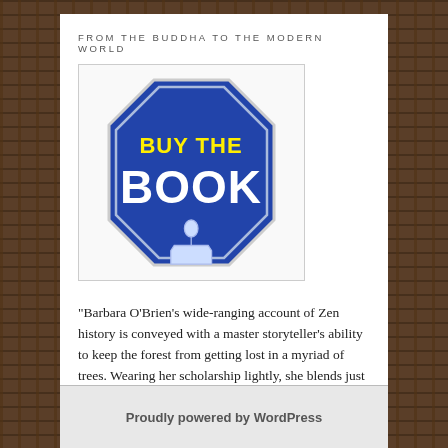FROM THE BUDDHA TO THE MODERN WORLD
[Figure (logo): Blue octagonal 'Buy the Book' badge with yellow text 'BUY THE' and white bold text 'BOOK' with a hand pointer icon]
"Barbara O’Brien’s wide-ranging account of Zen history is conveyed with a master storyteller’s ability to keep the forest from getting lost in a myriad of trees. Wearing her scholarship lightly, she blends just the right amount of skepticism about her hagiographic sources with a deep appreciation for the Dharma.” — Barry Magid, author of Nothing Is Hidden and Ending the Pursuit of Happiness Order here!
Proudly powered by WordPress